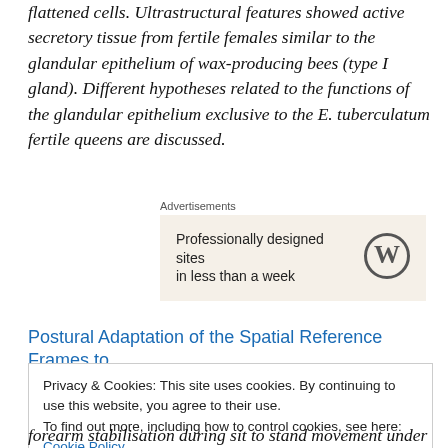flattened cells. Ultrastructural features showed active secretory tissue from fertile females similar to the glandular epithelium of wax-producing bees (type I gland). Different hypotheses related to the functions of the glandular epithelium exclusive to the E. tuberculatum fertile queens are discussed.
[Figure (other): Advertisement box with text 'Professionally designed sites in less than a week' and WordPress logo]
Postural Adaptation of the Spatial Reference Frames to
Privacy & Cookies: This site uses cookies. By continuing to use this website, you agree to their use. To find out more, including how to control cookies, see here: Cookie Policy
forearm stabilisation during sit to stand movement under